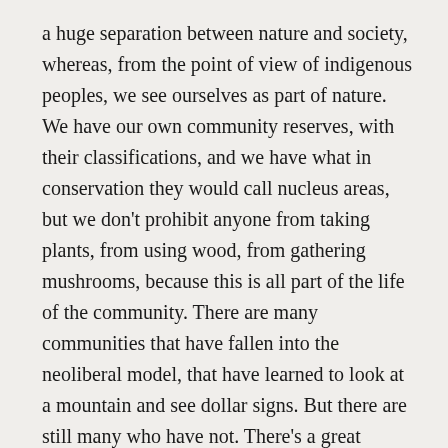a huge separation between nature and society, whereas, from the point of view of indigenous peoples, we see ourselves as part of nature. We have our own community reserves, with their classifications, and we have what in conservation they would call nucleus areas, but we don't prohibit anyone from taking plants, from using wood, from gathering mushrooms, because this is all part of the life of the community. There are many communities that have fallen into the neoliberal model, that have learned to look at a mountain and see dollar signs. But there are still many who have not. There's a great wealth among our ancestors who see nature as an extension of the community, and the community as part of nature.  For example, the iloles or curanderos, and the midwives, who pray on behalf of life, who pray for health, who evoke the gods. Our fathers go to the milpa to pray, and this keeps the milpa alive and keeps the form of